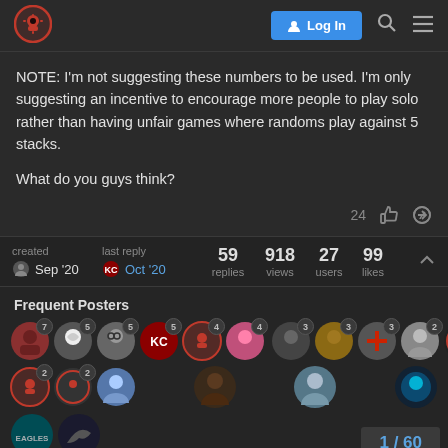Gears forum header with logo, Log In button, search and menu icons
NOTE: I'm not suggesting these numbers to be used. I'm only suggesting an incentive to encourage more people to play solo rather than having unfair games where randoms play against 5 stacks.

What do you guys think?
24 likes
| created | last reply | 59 replies | 918 views | 27 users | 99 likes |
| --- | --- | --- | --- | --- | --- |
| Sep '20 | Oct '20 |  |  |  |  |
Frequent Posters
[Figure (other): Grid of forum user avatar icons with post count badges. Row 1: avatars with counts 7,5,5,5,4,4,3,3,3,2,2. Row 2: avatars with counts 2,2 and 3 plain avatars. Row 3: 2 avatars.]
1 / 60